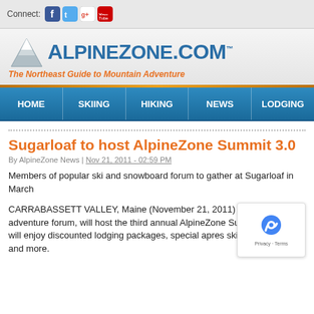Connect: [Facebook] [Twitter] [Google+] [YouTube]
[Figure (logo): AlpineZone.com logo with mountain graphic and tagline 'The Northeast Guide to Mountain Adventure']
HOME | SKIING | HIKING | NEWS | LODGING
Sugarloaf to host AlpineZone Summit 3.0
By AlpineZone News | Nov 21, 2011 - 02:59 PM
Members of popular ski and snowboard forum to gather at Sugarloaf in March
CARRABASSETT VALLEY, Maine (November 21, 2011) – AlpineZo... adventure forum, will host the third annual AlpineZone Summit at Su... will enjoy discounted lodging packages, special apres ski parties, a f... and more.